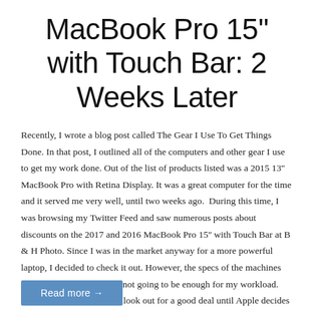MacBook Pro 15'' with Touch Bar: 2 Weeks Later
Recently, I wrote a blog post called The Gear I Use To Get Things Done. In that post, I outlined all of the computers and other gear I use to get my work done. Out of the list of products listed was a 2015 13'' MacBook Pro with Retina Display. It was a great computer for the time and it served me very well, until two weeks ago.  During this time, I was browsing my Twitter Feed and saw numerous posts about discounts on the 2017 and 2016 MacBook Pro 15'' with Touch Bar at B & H Photo. Since I was in the market anyway for a more powerful laptop, I decided to check it out. However, the specs of the machines that had the discount were not going to be enough for my workload. With this in mind, I would look out for a good deal until Apple decides to update the MacBook Pro for 2018.
Read more →